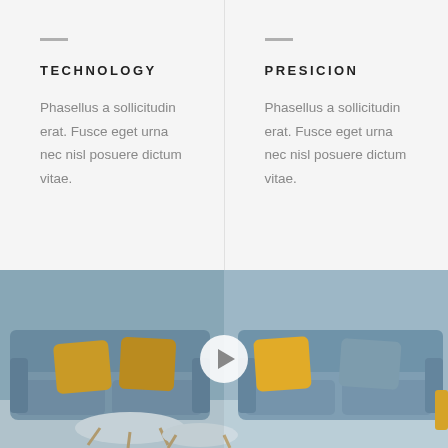TECHNOLOGY
Phasellus a sollicitudin erat. Fusce eget urna nec nisl posuere dictum vitae.
PRESICION
Phasellus a sollicitudin erat. Fusce eget urna nec nisl posuere dictum vitae.
[Figure (photo): Interior scene showing two blue sofas with yellow and orange throw pillows facing each other, small white coffee tables in the foreground, with a play button overlay indicating a video.]